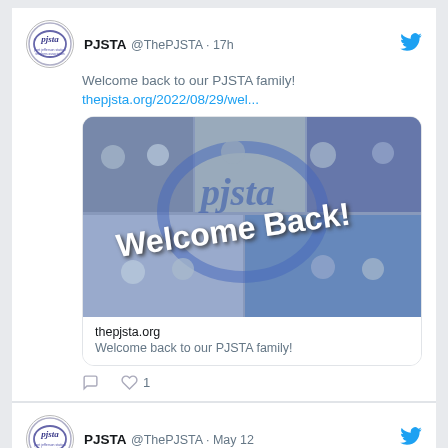[Figure (screenshot): Twitter/social media screenshot showing two PJSTA tweets. First tweet: PJSTA @ThePJSTA · 17h, 'Welcome back to our PJSTA family! thepjsta.org/2022/08/29/wel...' with a Welcome Back image and link card. Second tweet: PJSTA @ThePJSTA · May 12, 'Join The PJSTA on Monday, May 16th from 2:00-5:00 pm at Hurricane Grill & Wings in Port Jefferson Station']